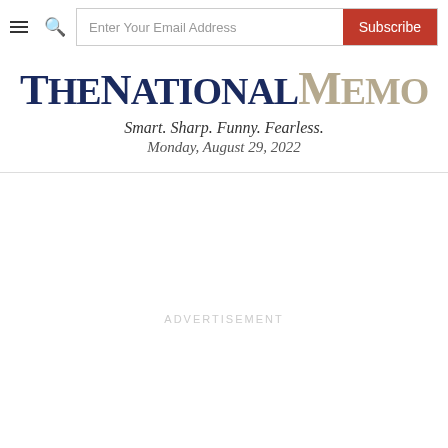TheNationalMemo — Smart. Sharp. Funny. Fearless. — Monday, August 29, 2022
TheNationalMemo
Smart. Sharp. Funny. Fearless.
Monday, August 29, 2022
ADVERTISEMENT